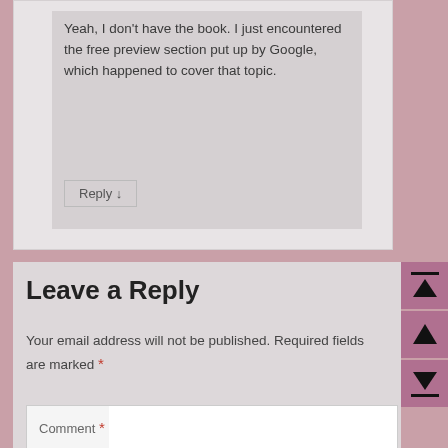Yeah, I don't have the book. I just encountered the free preview section put up by Google, which happened to cover that topic.
Reply ↓
Leave a Reply
Your email address will not be published. Required fields are marked *
Comment *